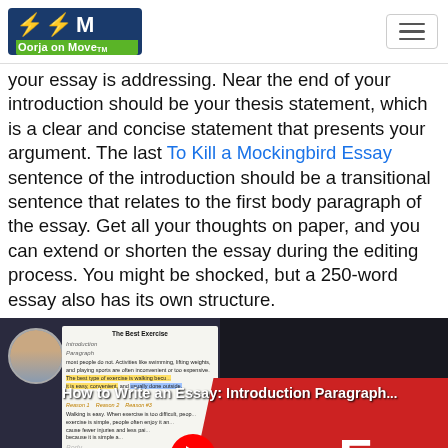[Figure (screenshot): Oorja on Move logo with lightning bolt icons and green bar, plus hamburger menu icon]
your essay is addressing. Near the end of your introduction should be your thesis statement, which is a clear and concise statement that presents your argument. The last To Kill a Mockingbird Essay sentence of the introduction should be a transitional sentence that relates to the first body paragraph of the essay. Get all your thoughts on paper, and you can extend or shorten the essay during the editing process. You might be shocked, but a 250-word essay also has its own structure.
[Figure (screenshot): YouTube video thumbnail for 'How to Write an Essay: Introduction Paragraph...' showing a person, a document about The Best Exercise essay with highlighted text, and red diagonal with 'an Essa' text visible]